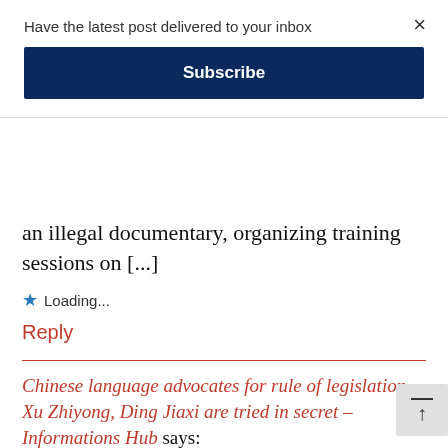Have the latest post delivered to your inbox
Subscribe
×
an illegal documentary, organizing training sessions on [...]
Loading...
Reply
Chinese language advocates for rule of legislation Xu Zhiyong, Ding Jiaxi are tried in secret – Informations Hub says:
June 24, 2022 at 4:55 am
[...] group with the intent to overthrow Chi present political system. Actions cited as p